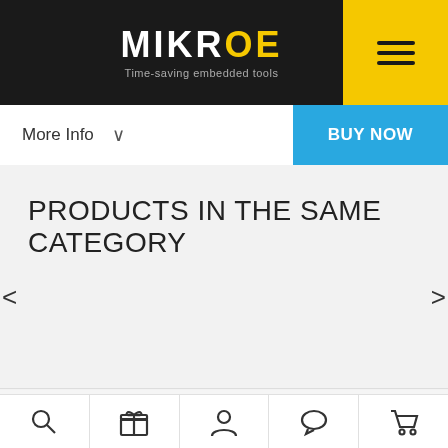MIKROE - Time-saving embedded tools
More Info
BUY NOW
PRODUCTS IN THE SAME CATEGORY
By using our site you agree with our Privacy Policy.
[Figure (screenshot): Bottom navigation bar with icons: search, gift, user/account, chat/comment, shopping cart]